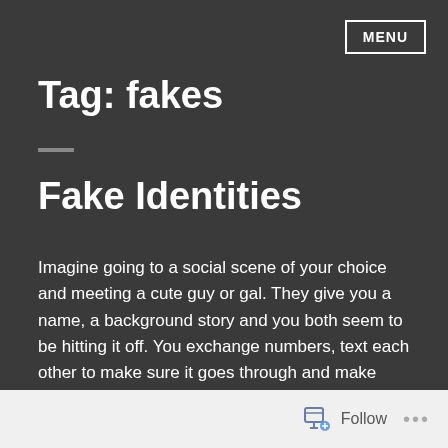MENU
Tag: fakes
Fake Identities
Imagine going to a social scene of your choice and meeting a cute guy or gal. They give you a name, a background story and you both seem to be hitting it off. You exchange numbers, text each other to make sure it goes through and make plans to chat later.
Follow ...